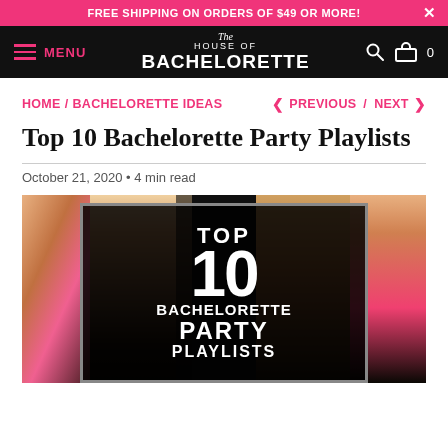FREE SHIPPING ON ORDERS OF $49 OR MORE!
[Figure (screenshot): House of Bachelorette website navigation bar with hamburger menu, logo, search icon, and cart icon]
HOME / BACHELORETTE IDEAS  < PREVIOUS / NEXT >
Top 10 Bachelorette Party Playlists
October 21, 2020 • 4 min read
[Figure (photo): Photo of women celebrating at a bachelorette party with overlay text reading TOP 10 BACHELORETTE PARTY PLAYLISTS]